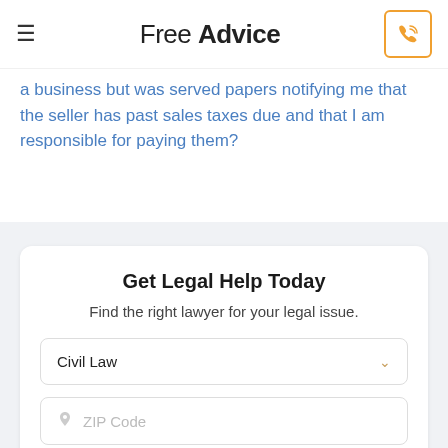Free Advice
a business but was served papers notifying me that the seller has past sales taxes due and that I am responsible for paying them?
Get Legal Help Today
Find the right lawyer for your legal issue.
Civil Law
ZIP Code